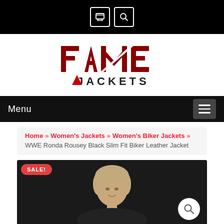Top navigation bar with cart and search icons
[Figure (logo): Fame Jackets logo — bold red and dark lettering with diagonal slash graphic]
Menu
Home » Women's Jackets » Women's Biker Jackets » WWE Ronda Rousey Black Slim Fit Biker Leather Jacket
[Figure (photo): Product page photo of WWE Ronda Rousey Black Slim Fit Biker Leather Jacket with SALE! badge and search magnifier button overlay]